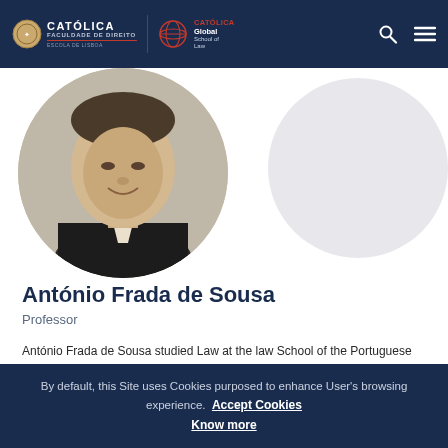[Figure (logo): Católica Faculdade de Direito and Católica Global School of Law logos in dark navy header with search and menu icons]
[Figure (photo): Circular profile photo of António Frada de Sousa, a man in a suit, black and white/sepia tone]
António Frada de Sousa
Professor
António Frada de Sousa studied Law at the law School of the Portuguese Catholic University (Licenciatura - LL.B. and Doutoramento - Ph.D.), at the Law School...
By default, this Site uses Cookies purposed to enhance User's browsing experience.  Accept Cookies  Know more